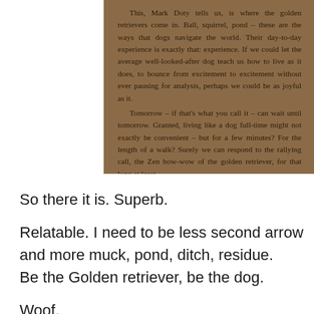[Figure (photo): A brown/tan background book page excerpt from Mark Doty discussing golden retrievers and living in the moment, referencing 'Zen bow-wow of the golden retriever'.]
So there it is. Superb.
Relatable. I need to be less second arrow and more muck, pond, ditch, residue.
Be the Golden retriever, be the dog.
Woof.